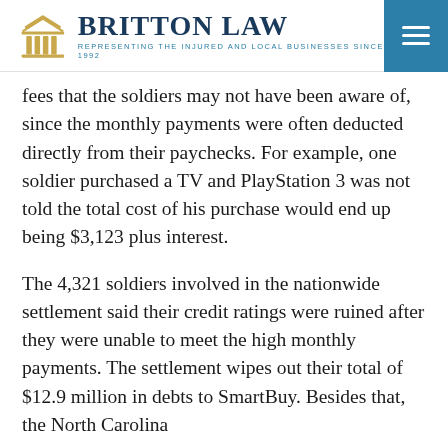BRITTON LAW — REPRESENTING THE INJURED AND LOCAL BUSINESSES SINCE 1992
fees that the soldiers may not have been aware of, since the monthly payments were often deducted directly from their paychecks. For example, one soldier purchased a TV and PlayStation 3 was not told the total cost of his purchase would end up being $3,123 plus interest.
The 4,321 soldiers involved in the nationwide settlement said their credit ratings were ruined after they were unable to meet the high monthly payments. The settlement wipes out their total of $12.9 million in debts to SmartBuy. Besides that, the North Carolina